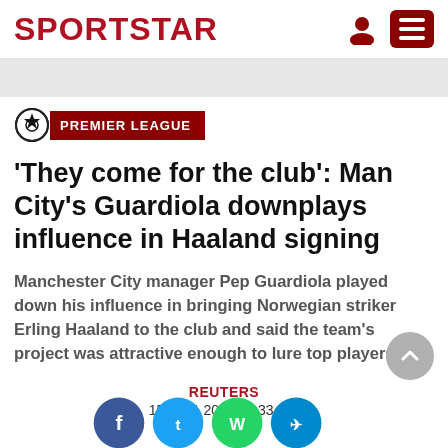SPORTSTAR
PREMIER LEAGUE
'They come for the club': Man City's Guardiola downplays influence in Haaland signing
Manchester City manager Pep Guardiola played down his influence in bringing Norwegian striker Erling Haaland to the club and said the team's project was attractive enough to lure top players.
REUTERS
15 MAY, 2022 12:33 IST